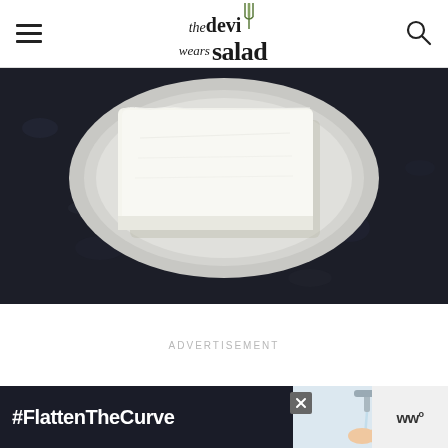the devi [fork icon] wears salad — navigation header with hamburger menu and search icon
[Figure (photo): A block of white feta cheese on a round grey ceramic plate, placed on a dark speckled stone surface]
ADVERTISEMENT
[Figure (photo): Bottom banner advertisement showing #FlattenTheCurve text with image of person washing hands at a faucet, and a logo on the right]